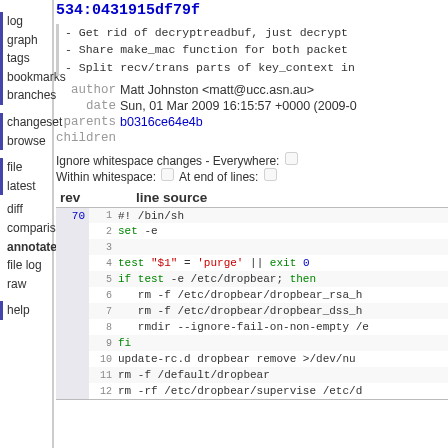534:0431915df79f
- Get rid of decryptreadbuf, just decrypt
- Share make_mac function for both packet
- Split recv/trans parts of key_context in
author Matt Johnston <matt@ucc.asn.au>
date Sun, 01 Mar 2009 16:15:57 +0000 (2009-0
parents b0316ce64e4b
children
Ignore whitespace changes - Everywhere:  Within whitespace:  At end of lines:
| rev | line source |
| --- | --- |
| 70 | 1 | #! /bin/sh |
|  | 2 | set -e |
|  | 3 |  |
|  | 4 | test "$1" = 'purge' || exit 0 |
|  | 5 | if test -e /etc/dropbear; then |
|  | 6 |    rm -f /etc/dropbear/dropbear_rsa_h |
|  | 7 |    rm -f /etc/dropbear/dropbear_dss_h |
|  | 8 |    rmdir --ignore-fail-on-non-empty /e |
|  | 9 | fi |
|  | 10 | update-rc.d dropbear remove >/dev/nu |
|  | 11 | rm -f /default/dropbear |
|  | 12 | rm -rf /etc/dropbear/supervise /etc/d |